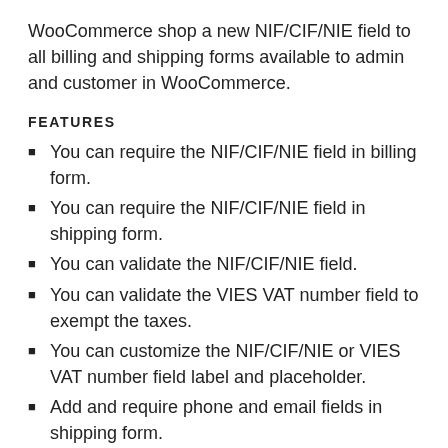WooCommerce shop a new NIF/CIF/NIE field to all billing and shipping forms available to admin and customer in WooCommerce.
FEATURES
You can require the NIF/CIF/NIE field in billing form.
You can require the NIF/CIF/NIE field in shipping form.
You can validate the NIF/CIF/NIE field.
You can validate the VIES VAT number field to exempt the taxes.
You can customize the NIF/CIF/NIE or VIES VAT number field label and placeholder.
Add and require phone and email fields in shipping form.
You can remove the phone and email fields from the default address.